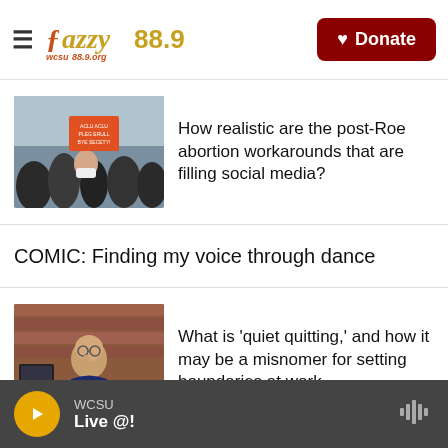Jazzy 88.9 WCSU — Donate
[Figure (photo): Protest crowd with signs, people wearing masks]
How realistic are the post-Roe abortion workarounds that are filling social media?
COMIC: Finding my voice through dance
[Figure (photo): Bald man in glasses talking on phone at desk]
What is 'quiet quitting,' and how it may be a misnomer for setting boundaries at work
[Figure (photo): Partial image - person, bottom of page]
Demi Lovato on taking the power
WCSU Live @!